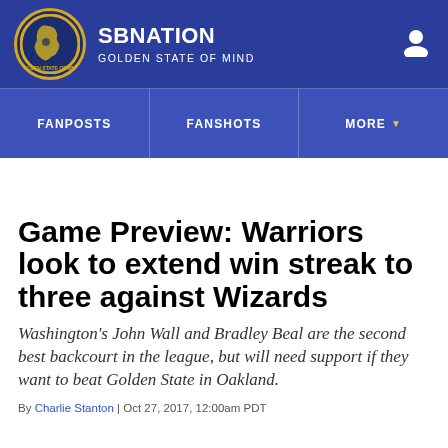SB NATION — GOLDEN STATE OF MIND
FANPOSTS | FANSHOTS | MORE
Game Preview: Warriors look to extend win streak to three against Wizards
Washington's John Wall and Bradley Beal are the second best backcourt in the league, but will need support if they want to beat Golden State in Oakland.
By Charlie Stanton | Oct 27, 2017, 12:00am PDT